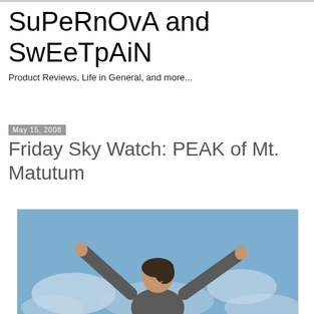SuPeRnOvA and SwEeTpAiN
Product Reviews, Life in General, and more...
May 15, 2008
Friday Sky Watch: PEAK of Mt. Matutum
[Figure (photo): A person with arms raised triumphantly against a blue sky with clouds, taken at the peak of Mt. Matutum]